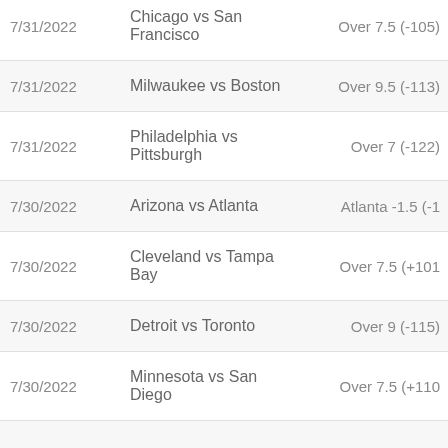| Date | Game | Bet |
| --- | --- | --- |
| 7/31/2022 | Chicago vs San Francisco | Over 7.5 (-105) |
| 7/31/2022 | Milwaukee vs Boston | Over 9.5 (-113) |
| 7/31/2022 | Philadelphia vs Pittsburgh | Over 7 (-122) |
| 7/30/2022 | Arizona vs Atlanta | Atlanta -1.5 (-1 |
| 7/30/2022 | Cleveland vs Tampa Bay | Over 7.5 (+101 |
| 7/30/2022 | Detroit vs Toronto | Over 9 (-115) |
| 7/30/2022 | Minnesota vs San Diego | Over 7.5 (+110 |